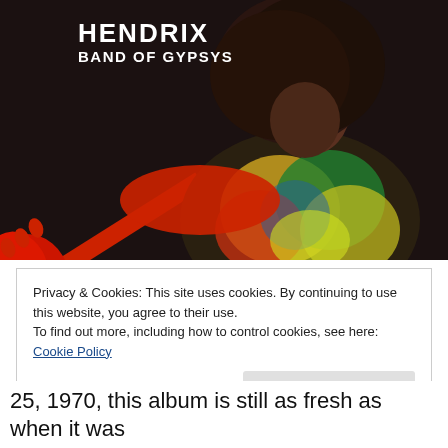[Figure (photo): Album cover for Hendrix Band of Gypsys. Dark background with Jimi Hendrix holding a red Fender guitar, wearing a colorful shirt, with large afro. White text in upper left reads 'HENDRIX' and 'BAND OF GYPSYS'.]
Privacy & Cookies: This site uses cookies. By continuing to use this website, you agree to their use.
To find out more, including how to control cookies, see here: Cookie Policy
Close and accept
25, 1970, this album is still as fresh as when it was